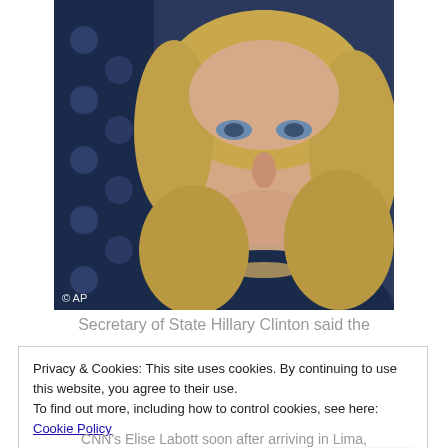[Figure (photo): Photograph of Secretary of State Hillary Clinton in front of an American flag. © AP watermark in lower left corner.]
Secretary of State Hillary Clinton said the
Privacy & Cookies: This site uses cookies. By continuing to use this website, you agree to their use.
To find out more, including how to control cookies, see here: Cookie Policy
Close and accept
CNN's Elise Labott soon after arriving in Lima,